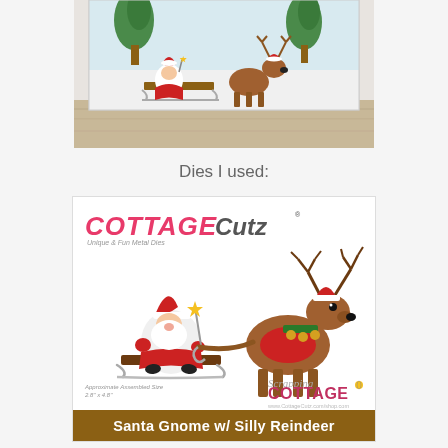[Figure (photo): Top portion of a craft project photo showing a sleigh scene with gnome and reindeer on a white background, displayed on a wooden surface]
Dies I used:
[Figure (photo): CottageCutz product card for 'Santa Gnome w/ Silly Reindeer' die set, showing a gnome Santa on a sleigh with a reindeer wearing a Santa hat. Logo at top reads COTTAGE Cutz. Bottom bar is brown with white text reading 'Santa Gnome w/ Silly Reindeer'. Scrapping Cottage branding in bottom right. Approximate Assembled Size 2.8" x 4.8" noted in bottom left.]